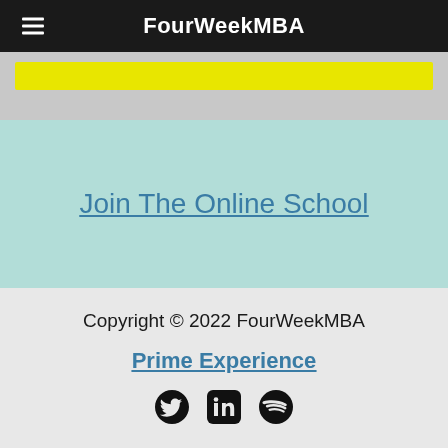FourWeekMBA
[Figure (other): Yellow button bar on grey background]
Join The Online School
Copyright © 2022 FourWeekMBA
Prime Experience
[Figure (other): Social media icons: Twitter, LinkedIn, Spotify]